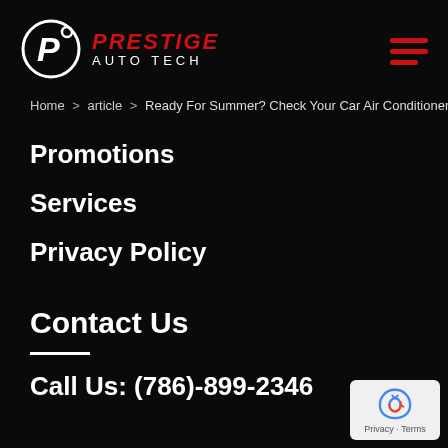[Figure (logo): Prestige Auto Tech logo with circular P icon and red PRESTIGE text]
Home > article > Ready For Summer? Check Your Car Air Conditioner
Promotions
Services
Privacy Policy
Contact Us
Call Us: (786)-899-2346
[Figure (logo): Google reCAPTCHA badge with Privacy and Terms links]